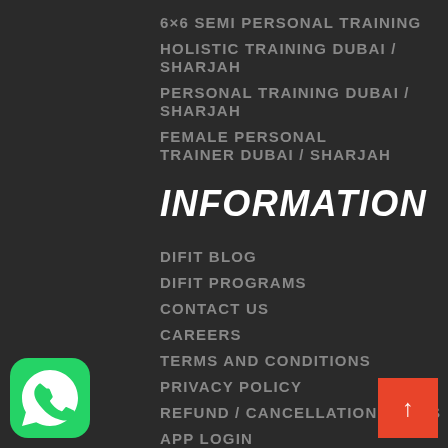6×6 SEMI PERSONAL TRAINING
HOLISTIC TRAINING DUBAI / SHARJAH
PERSONAL TRAINING DUBAI / SHARJAH
FEMALE PERSONAL TRAINER DUBAI / SHARJAH
INFORMATION
DIFIT BLOG
DIFIT PROGRAMS
CONTACT US
CAREERS
TERMS AND CONDITIONS
PRIVACY POLICY
REFUND / CANCELLATION TERMS
APP LOGIN
[Figure (logo): WhatsApp green icon at bottom left]
[Figure (other): Red back-to-top arrow button at bottom right]